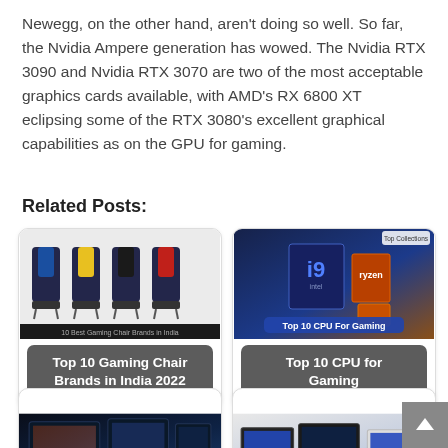Newegg, on the other hand, aren't doing so well. So far, the Nvidia Ampere generation has wowed. The Nvidia RTX 3090 and Nvidia RTX 3070 are two of the most acceptable graphics cards available, with AMD's RX 6800 XT eclipsing some of the RTX 3080's excellent graphical capabilities as on the GPU for gaming.
Related Posts:
[Figure (photo): Gaming chairs in multiple colors (black/blue, black/yellow, all black, black/red) displayed in a row against white background, with a black banner at the bottom]
Top 10 Gaming Chair Brands in India 2022
[Figure (photo): Intel Core i9 processor boxes and AMD Ryzen processor boxes on a dark background with blue lighting, with a 'Top 10 CPU For Gaming' label overlay]
Top 10 CPU for Gaming
[Figure (photo): Gaming monitor setup with multiple screens showing colorful game graphics in a dark lit room]
[Figure (photo): Multiple laptops displayed on a white background showing different laptop models]